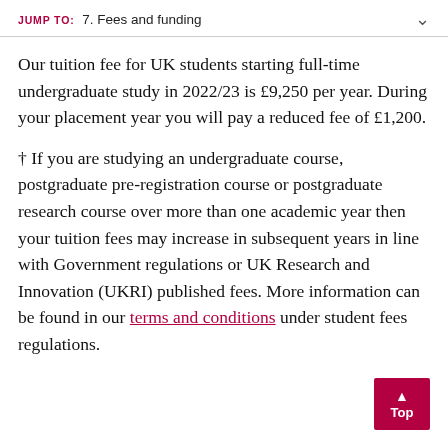JUMP TO: 7. Fees and funding
Our tuition fee for UK students starting full-time undergraduate study in 2022/23 is £9,250 per year. During your placement year you will pay a reduced fee of £1,200.
† If you are studying an undergraduate course, postgraduate pre-registration course or postgraduate research course over more than one academic year then your tuition fees may increase in subsequent years in line with Government regulations or UK Research and Innovation (UKRI) published fees. More information can be found in our terms and conditions under student fees regulations.